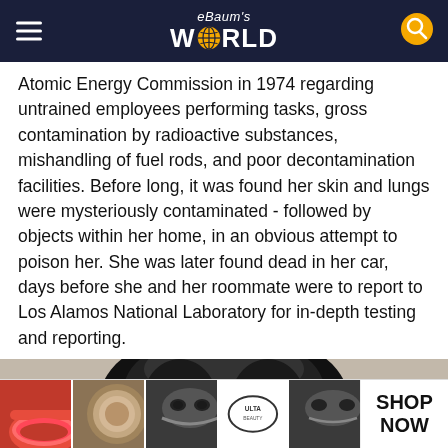eBaum's WORLD
Atomic Energy Commission in 1974 regarding untrained employees performing tasks, gross contamination by radioactive substances, mishandling of fuel rods, and poor decontamination facilities. Before long, it was found her skin and lungs were mysteriously contaminated - followed by objects within her home, in an obvious attempt to poison her. She was later found dead in her car, days before she and her roommate were to report to Los Alamos National Laboratory for in-depth testing and reporting.
[Figure (photo): Black and white close-up photo of a woman with dark voluminous hair, top of head and forehead visible]
[Figure (photo): ULTA Beauty advertisement banner showing makeup products and models with text SHOP NOW]